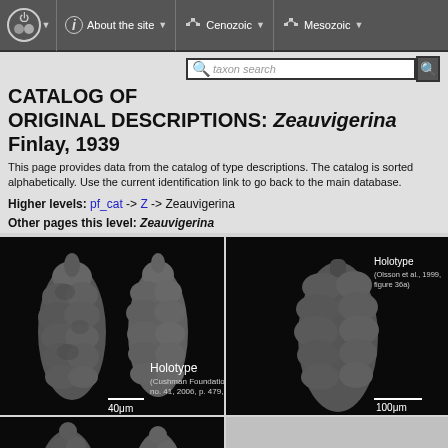Navigation bar with icons: Home, About the site, Cenozoic, Mesozoic
CATALOG OF ORIGINAL DESCRIPTIONS: Zeauvigerina Finlay, 1939
This page provides data from the catalog of type descriptions. The catalog is sorted alphabetically. Use the current identification link to go back to the main database.
Higher levels: pf_cat -> Z -> Zeauvigerina
Other pages this level: Zeauvigerina
[Figure (photo): SEM image showing two views of Zeauvigerina holotype specimen on black background, labeled Holotype (Cushman Foundation Special Publication no. 41, 2006, p. 479, Pl. 16.4, fig...). Scale bar 40μm.]
[Figure (photo): SEM image of Zeauvigerina holotype specimen on black background, labeled Holotype (Olsson et al., 1999, figure 36a). Scale bar 100μm.]
[Figure (photo): SEM image showing two views of Zeauvigerina paratype specimen on black background, labeled Paratype (Cushman Foundation Special Publication...).]
[Figure (photo): Empty black cell (right bottom of grid).]